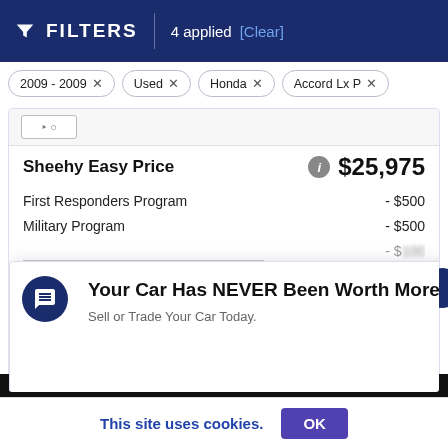FILTERS | 4 applied [Clear]
2009 - 2009 ×
Used ×
Honda ×
Accord Lx P ×
Sheehy Easy Price   $25,975
First Responders Program   - $500
Military Program   - $500
[Figure (screenshot): Popup notification: 'Your Car Has NEVER Been Worth More! Sell or Trade Your Car Today.' with chat bubble icon and close button]
OEM HYUNDAI WINDOW STICKER
This site uses cookies.   OK